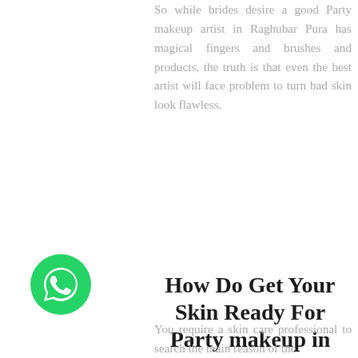So while brides desire a good Party makeup artist in Raghubar Pura has magical fingers and brushes and products, the truth is that even the best artist will face problem to turn bad skin look flawless.
How Do Get Your Skin Ready For Party makeup in Raghubar Pura?
Search Out A Dermatologist Is Important If Yourskin Problems For Long
[Figure (illustration): WhatsApp chat button — green circle with white WhatsApp phone/speech-bubble icon]
You require a skin care professional to search the main reason of the